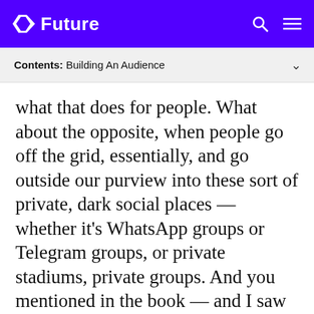Future
Contents: Building An Audience
what that does for people. What about the opposite, when people go off the grid, essentially, and go outside our purview into these sort of private, dark social places — whether it's WhatsApp groups or Telegram groups, or private stadiums, private groups. And you mentioned in the book — and I saw Yancey Strickler's tweet about this when he did it on Twitter — he's a former co-founder, CEO of Kickstarter. He draws the analogy of the dark forest. The reason that we can't